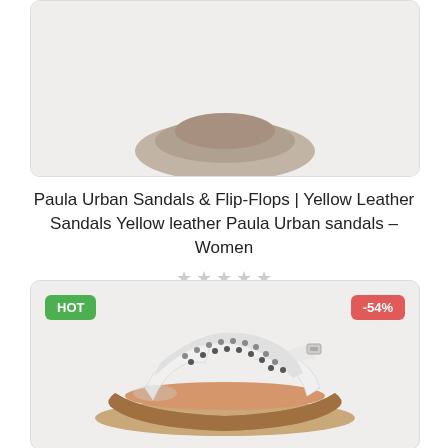[Figure (photo): Top portion of a shoe/sandal product image, cropped, on light beige background]
Paula Urban Sandals & Flip-Flops | Yellow Leather Sandals Yellow leather Paula Urban sandals – Women
★★★★★ (star rating, empty/grey stars)
$101.00  $54.00
[Figure (photo): White and patterned crossover strap wedge sandal with brown sole, shown on light background. HOT badge top-left, -54% badge top-right.]